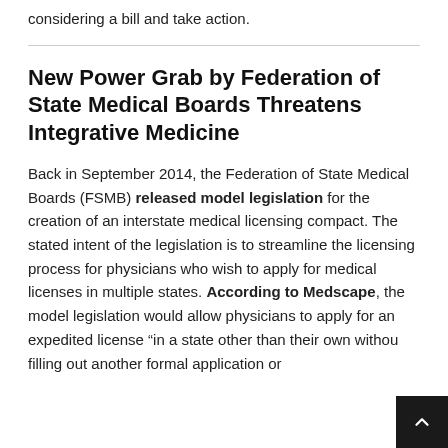considering a bill and take action.
New Power Grab by Federation of State Medical Boards Threatens Integrative Medicine
Back in September 2014, the Federation of State Medical Boards (FSMB) released model legislation for the creation of an interstate medical licensing compact. The stated intent of the legislation is to streamline the licensing process for physicians who wish to apply for medical licenses in multiple states. According to Medscape, the model legislation would allow physicians to apply for an expedited license “in a state other than their own without filling out another formal application or